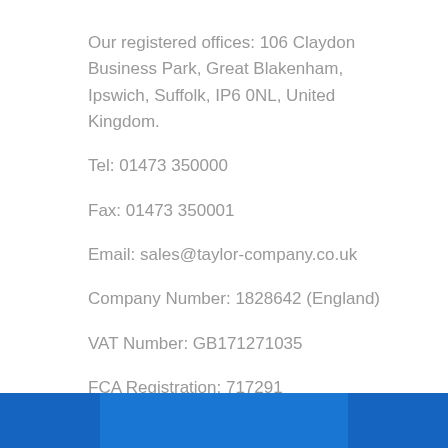Our registered offices: 106 Claydon Business Park, Great Blakenham, Ipswich, Suffolk, IP6 0NL, United Kingdom.
Tel: 01473 350000
Fax: 01473 350001
Email: sales@taylor-company.co.uk
Company Number: 1828642 (England)
VAT Number: GB171271035
FCA Registration: 717291